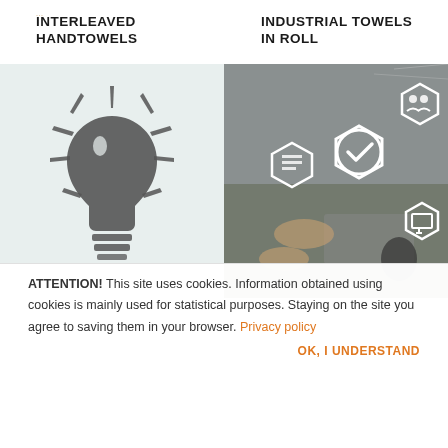...
INTERLEAVED HANDTOWELS
INDUSTRIAL TOWELS IN ROLL
[Figure (illustration): Light bulb icon on pale green/gray background representing an idea or product concept]
[Figure (photo): Business people working at a desk with overlaid white hexagonal icons including a checkmark, person/group icon, document icon, and monitor icon, representing business solutions]
ATTENTION! This site uses cookies. Information obtained using cookies is mainly used for statistical purposes. Staying on the site you agree to saving them in your browser. Privacy policy
OK, I UNDERSTAND